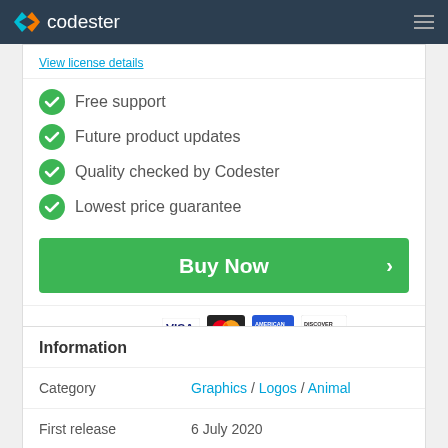codester
View license details
Free support
Future product updates
Quality checked by Codester
Lowest price guarantee
Buy Now
[Figure (logo): Payment method logos: PayPal, VISA, Mastercard, American Express, Discover]
Information
|  |  |
| --- | --- |
| Category | Graphics / Logos / Animal |
| First release | 6 July 2020 |